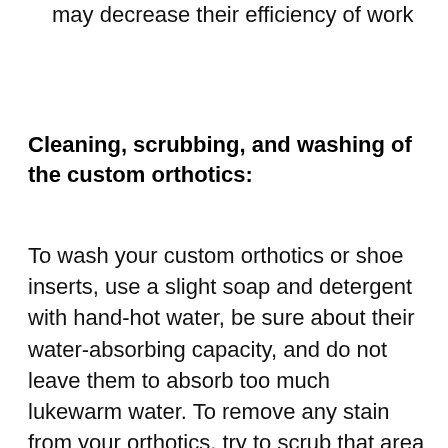may decrease their efficiency of work
Cleaning, scrubbing, and washing of the custom orthotics:
To wash your custom orthotics or shoe inserts, use a slight soap and detergent with hand-hot water, be sure about their water-absorbing capacity, and do not leave them to absorb too much lukewarm water. To remove any stain from your orthotics, try to scrub that area with a soft toothbrush to treat it gently. After rinsing them gently with removing extra dirt and clean them gently with removing extra dirt and